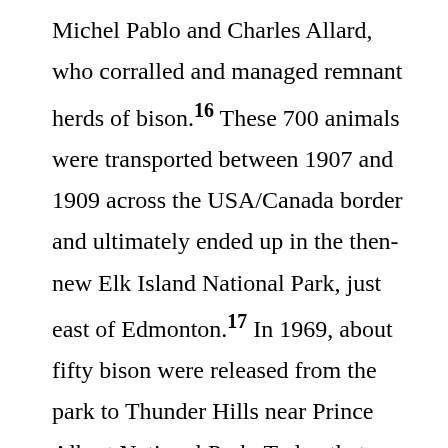Michel Pablo and Charles Allard, who corralled and managed remnant herds of bison.16 These 700 animals were transported between 1907 and 1909 across the USA/Canada border and ultimately ended up in the then-new Elk Island National Park, just east of Edmonton.17 In 1969, about fifty bison were released from the park to Thunder Hills near Prince Albert National Park. Today that group, the Sturgeon River herd, is the last wild herd in Saskatchewan.